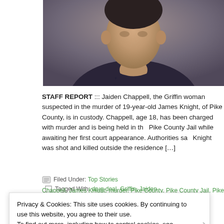[Figure (photo): Mugshot photo of a person wearing a dark shirt, cropped showing face, neck and upper torso against a plain background]
STAFF REPORT ::: Jaiden Chappell, the Griffin woman suspected in the murder of 19-year-old James Knight, of Pike County, is in custody. Chappell, age 18, has been charged with murder and is being held in the Pike County Jail while awaiting her first court appearance. Authorities say Knight was shot and killed outside the residence [...]
Filed Under: Top Stories   Tagged With: drug deal, Griffin, Jaiden Chappell, James Knight, murder, Pike County, Pike County Jail, Pike County
Privacy & Cookies: This site uses cookies. By continuing to use this website, you agree to their use.
To find out more, including how to control cookies, see here: Cookie Policy